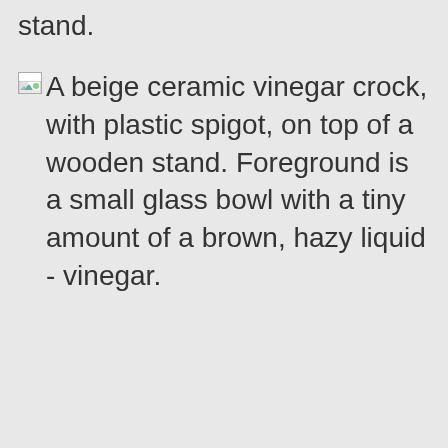stand.
A beige ceramic vinegar crock, with plastic spigot, on top of a wooden stand. Foreground is a small glass bowl with a tiny amount of a brown, hazy liquid - vinegar.